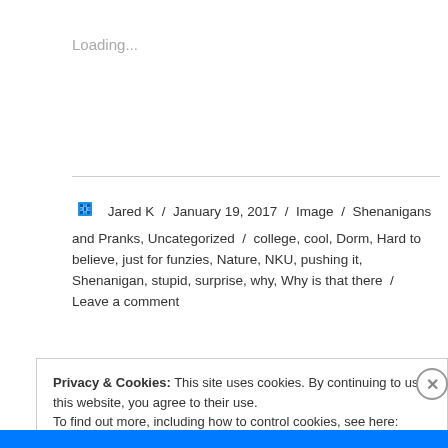Loading...
Jared K / January 19, 2017 / Image / Shenanigans and Pranks, Uncategorized / college, cool, Dorm, Hard to believe, just for funzies, Nature, NKU, pushing it, Shenanigan, stupid, surprise, why, Why is that there / Leave a comment
Privacy & Cookies: This site uses cookies. By continuing to use this website, you agree to their use.
To find out more, including how to control cookies, see here: Cookie Policy
Close and accept